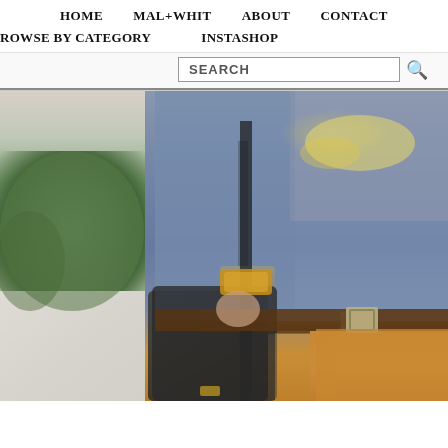HOME   MAL+WHIT   ABOUT   CONTACT
BROWSE BY CATEGORY   INSTASHOP
SEARCH
[Figure (photo): Fashion blog photo showing a woman wearing a chambray blue button-down shirt, cream floral statement necklace, brown leather belt with silver buckle, mustard/caramel skirt, gold cuff bracelet, and carrying a dark gray/black leather shoulder bag. Background shows an urban street scene with greenery, a concrete ramp, and a pink/red brick building.]